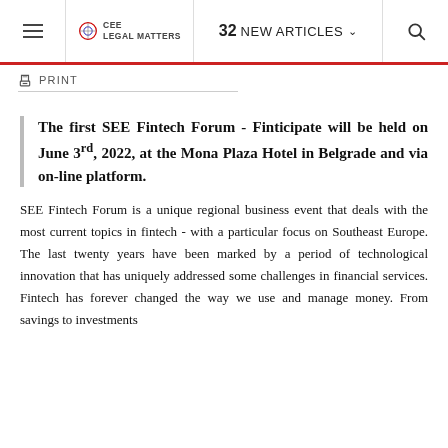≡  CEE LEGAL MATTERS  |  32 NEW ARTICLES ∨  |  🔍
🖨 PRINT
The first SEE Fintech Forum - Finticipate will be held on June 3rd, 2022, at the Mona Plaza Hotel in Belgrade and via on-line platform.
SEE Fintech Forum is a unique regional business event that deals with the most current topics in fintech - with a particular focus on Southeast Europe. The last twenty years have been marked by a period of technological innovation that has uniquely addressed some challenges in financial services. Fintech has forever changed the way we use and manage money. From savings to investments